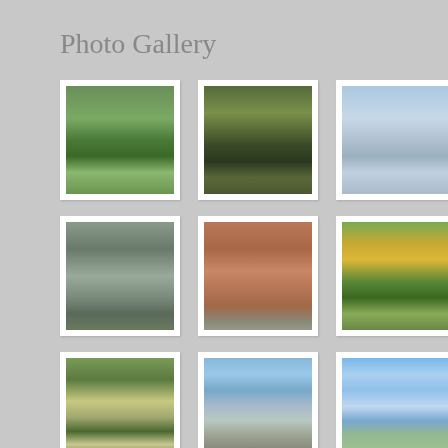Photo Gallery
[Figure (photo): Park area with American flag and trees]
[Figure (photo): Playground with slide and trees]
[Figure (photo): Water fountain or splash pad, blurred motion]
[Figure (photo): Exterior of a building with sign]
[Figure (photo): Brick building exterior with door and window]
[Figure (photo): Park pavilion with yellow-leafed tree]
[Figure (photo): Walkway or path through a park]
[Figure (photo): Government building with flags in front]
[Figure (photo): Street view with blue sky and clouds]
[Figure (photo): Open field or park area]
[Figure (photo): Brick courthouse or civic building with flag]
[Figure (photo): Gazebo or pavilion in park setting]
[Figure (photo): Partial photo - appears to be outdoor scene]
[Figure (photo): Partial photo - appears to be outdoor scene]
[Figure (photo): Partial photo - appears to be outdoor scene]